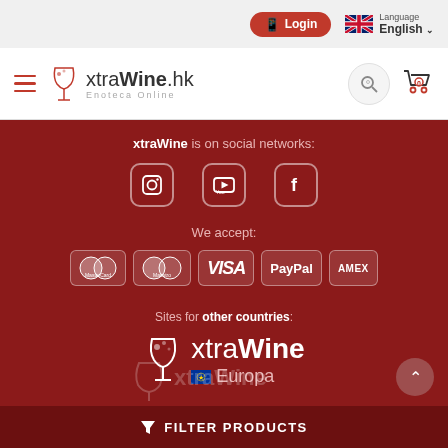[Figure (screenshot): Website header with Login button and Language/English selector with UK flag]
[Figure (logo): xtraWine.hk Enoteca Online logo with hamburger menu, search icon, and cart icon]
xtraWine is on social networks:
[Figure (infographic): Social media icons: Instagram, YouTube, Facebook]
We accept:
[Figure (infographic): Payment logos: MasterCard, Maestro, VISA, PayPal, AMEX]
Sites for other countries:
[Figure (logo): xtraWine Europa logo with EU flag]
[Figure (infographic): xtraWine watermark and FILTER PRODUCTS bar at bottom]